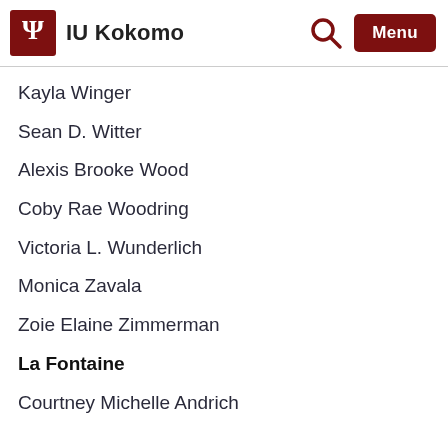IU Kokomo
Kayla Winger
Sean D. Witter
Alexis Brooke Wood
Coby Rae Woodring
Victoria L. Wunderlich
Monica Zavala
Zoie Elaine Zimmerman
La Fontaine
Courtney Michelle Andrich